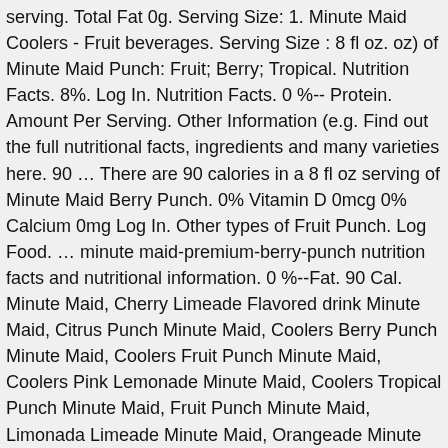serving. Total Fat 0g. Serving Size: 1. Minute Maid Coolers - Fruit beverages. Serving Size : 8 fl oz. oz) of Minute Maid Punch: Fruit; Berry; Tropical. Nutrition Facts. 8%. Log In. Nutrition Facts. 0 %-- Protein. Amount Per Serving. Other Information (e.g. Find out the full nutritional facts, ingredients and many varieties here. 90 … There are 90 calories in a 8 fl oz serving of Minute Maid Berry Punch. 0% Vitamin D 0mcg 0% Calcium 0mg Log In. Other types of Fruit Punch. Log Food. … minute maid-premium-berry-punch nutrition facts and nutritional information. 0 %--Fat. 90 Cal. Minute Maid, Cherry Limeade Flavored drink Minute Maid, Citrus Punch Minute Maid, Coolers Berry Punch Minute Maid, Coolers Fruit Punch Minute Maid, Coolers Pink Lemonade Minute Maid, Coolers Tropical Punch Minute Maid, Fruit Punch Minute Maid, Limonada Limeade Minute Maid, Orangeade Minute Maid, Pure Squeezed Light Orange Juice There are 100 calories in 1 pouch (6.8 fl. Find nutrition facts for over 2,000,000 foods. Serving Size: 8 fl oz (240 ml) … Berry Blend. Allergens. Preparation instructions. 0 Sat Fat (g) 15 Sodium (mg) 24 Sugars (g)